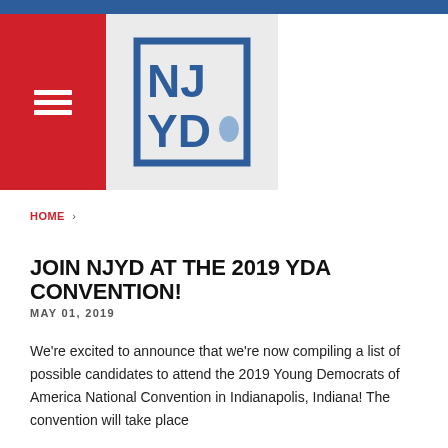[Figure (logo): NJYD logo — blue square border with NJ YD text and New Jersey state silhouette, on a light gray background]
HOME >
JOIN NJYD AT THE 2019 YDA CONVENTION!
MAY 01, 2019
We're excited to announce that we're now compiling a list of possible candidates to attend the 2019 Young Democrats of America National Convention in Indianapolis, Indiana! The convention will take place